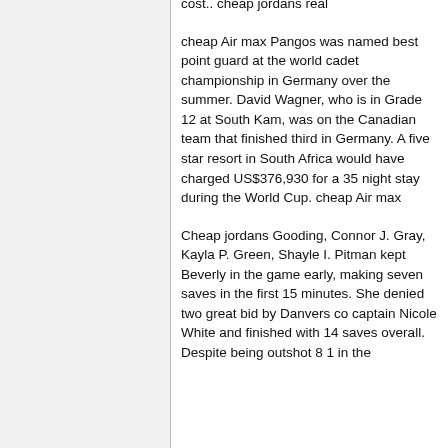cost.. cheap jordans real
cheap Air max Pangos was named best point guard at the world cadet championship in Germany over the summer. David Wagner, who is in Grade 12 at South Kam, was on the Canadian team that finished third in Germany. A five star resort in South Africa would have charged US$376,930 for a 35 night stay during the World Cup. cheap Air max
Cheap jordans Gooding, Connor J. Gray, Kayla P. Green, Shayle I. Pitman kept Beverly in the game early, making seven saves in the first 15 minutes. She denied two great bid by Danvers co captain Nicole White and finished with 14 saves overall. Despite being outshot 8 1 in the